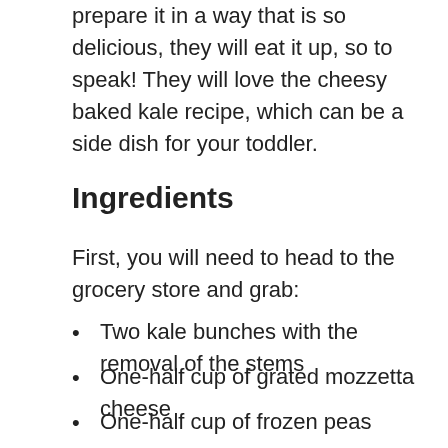prepare it in a way that is so delicious, they will eat it up, so to speak! They will love the cheesy baked kale recipe, which can be a side dish for your toddler.
Ingredients
First, you will need to head to the grocery store and grab:
Two kale bunches with the removal of the stems
One-half cup of grated mozzetta cheese
One-half cup of frozen peas
One-quarter cup of cornmeal
One-quarter cup of grated Parmesan
One egg